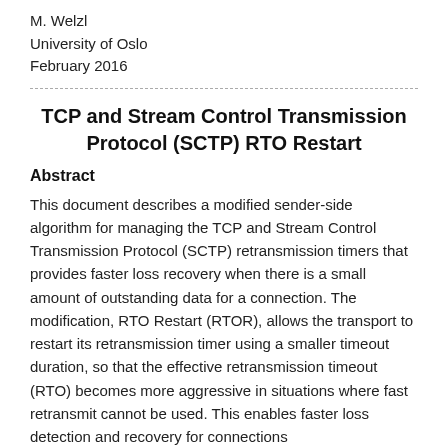M. Welzl
University of Oslo
February 2016
TCP and Stream Control Transmission Protocol (SCTP) RTO Restart
Abstract
This document describes a modified sender-side algorithm for managing the TCP and Stream Control Transmission Protocol (SCTP) retransmission timers that provides faster loss recovery when there is a small amount of outstanding data for a connection. The modification, RTO Restart (RTOR), allows the transport to restart its retransmission timer using a smaller timeout duration, so that the effective retransmission timeout (RTO) becomes more aggressive in situations where fast retransmit cannot be used. This enables faster loss detection and recovery for connections